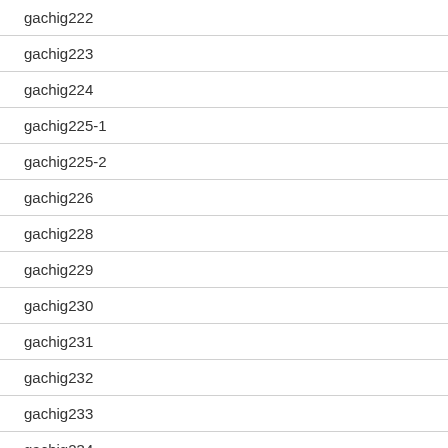gachig222
gachig223
gachig224
gachig225-1
gachig225-2
gachig226
gachig228
gachig229
gachig230
gachig231
gachig232
gachig233
gachig234
gachig235